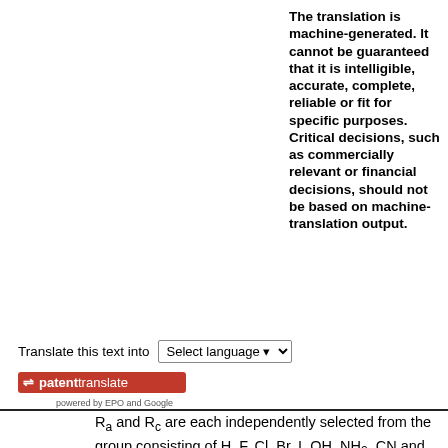The translation is machine-generated. It cannot be guaranteed that it is intelligible, accurate, complete, reliable or fit for specific purposes. Critical decisions, such as commercially relevant or financial decisions, should not be based on machine-translation output.
Translate this text into [Select language]
[Figure (logo): patenttranslate logo - red background with white arrows and text, powered by EPO and Google]
Ra and Rc are each independently selected from the group consisting of H, F, Cl, Br, I, OH, NH2, CN and C1-3 alkyl;
Rb is selected from the group consisting of H and C1-3 alkyl;